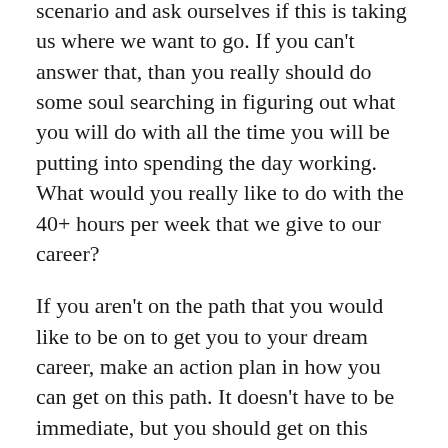scenario and ask ourselves if this is taking us where we want to go. If you can't answer that, than you really should do some soul searching in figuring out what you will do with all the time you will be putting into spending the day working. What would you really like to do with the 40+ hours per week that we give to our career?
If you aren't on the path that you would like to be on to get you to your dream career, make an action plan in how you can get on this path. It doesn't have to be immediate, but you should get on this ASAP. Spending a lot of time going nowhere is not doing you any good.
This also should include evaluating your